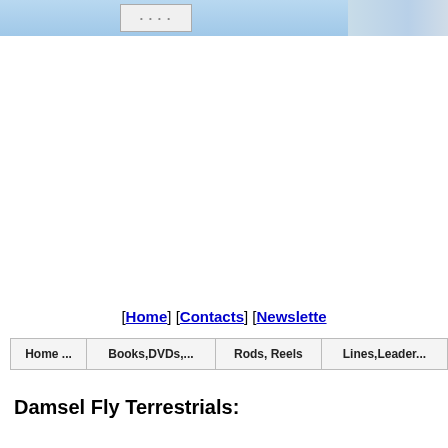[Figure (screenshot): Light blue header banner with a white/gray box containing dots in the center-left area, and a blue-gray image strip on the right side]
[Home] [Contacts] [Newslette
| Home ... | Books,DVDs,... | Rods, Reels | Lines,Leader... |
| --- | --- | --- | --- |
Damsel Fly Terrestrials: